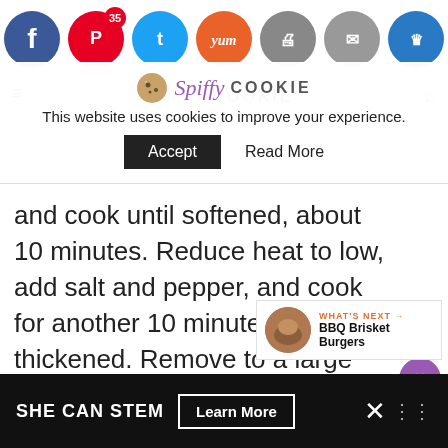Social sharing bar with Facebook, Pinterest (35), Twitter, Yum, Print, Mail, Crown icons and Spiffy Cookie logo
This website uses cookies to improve your experience.
Accept   Read More
and cook until softened, about 10 minutes. Reduce heat to low, add salt and pepper, and cook for another 10 minutes until thickened. Remove to a large bowl and set aside.
WHAT'S NEXT → BBQ Brisket Burgers
SHE CAN STEM  Learn More  ×